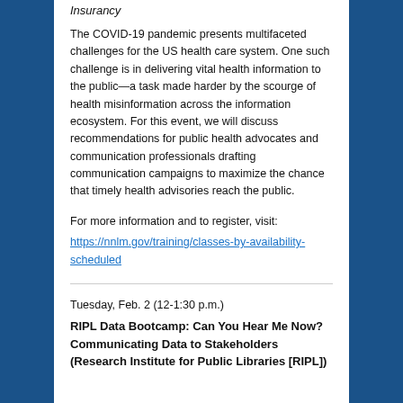Insurancy
The COVID-19 pandemic presents multifaceted challenges for the US health care system. One such challenge is in delivering vital health information to the public—a task made harder by the scourge of health misinformation across the information ecosystem. For this event, we will discuss recommendations for public health advocates and communication professionals drafting communication campaigns to maximize the chance that timely health advisories reach the public.
For more information and to register, visit: https://nnlm.gov/training/classes-by-availability-scheduled
Tuesday, Feb. 2 (12-1:30 p.m.)
RIPL Data Bootcamp: Can You Hear Me Now? Communicating Data to Stakeholders (Research Institute for Public Libraries [RIPL])